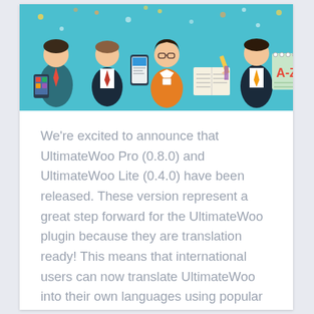[Figure (illustration): A colorful teal/cyan banner illustration showing flat-style icons of people and communication tools: a person with a phone/tablet, a businessman in suit, a smartphone, a woman in orange dress with name badge, an open book with pencil, another businessman in dark suit, and a notepad with A-Z letters. Light blue confetti/dots scattered in background.]
We're excited to announce that UltimateWoo Pro (0.8.0) and UltimateWoo Lite (0.4.0) have been released. These version represent a great step forward for the UltimateWoo plugin because they are translation ready! This means that international users can now translate UltimateWoo into their own languages using popular translation tools. For easy translation right from the WordPress […]